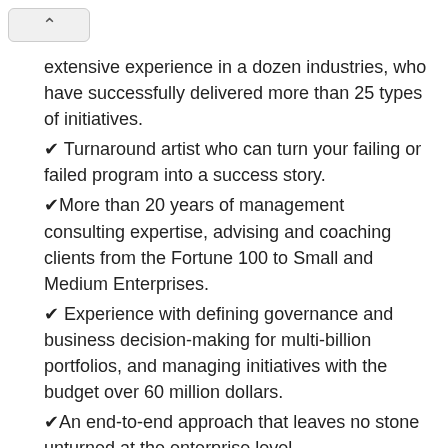extensive experience in a dozen industries, who have successfully delivered more than 25 types of initiatives.
✔ Turnaround artist who can turn your failing or failed program into a success story.
✔More than 20 years of management consulting expertise, advising and coaching clients from the Fortune 100 to Small and Medium Enterprises.
✔ Experience with defining governance and business decision-making for multi-billion portfolios, and managing initiatives with the budget over 60 million dollars.
✔An end-to-end approach that leaves no stone unturned at the enterprise level.
When we work together, you receive:
✔ Direct and objective feedback that helps you and your business improve.
✔Extremely practical and highly specific